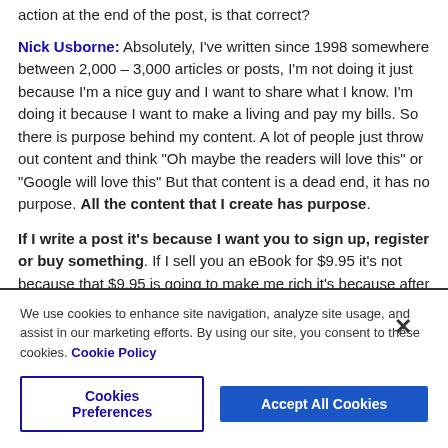action at the end of the post, is that correct?
Nick Usborne: Absolutely, I've written since 1998 somewhere between 2,000 – 3,000 articles or posts, I'm not doing it just because I'm a nice guy and I want to share what I know. I'm doing it because I want to make a living and pay my bills. So there is purpose behind my content. A lot of people just throw out content and think "Oh maybe the readers will love this" or "Google will love this" But that content is a dead end, it has no purpose. All the content that I create has purpose.
If I write a post it's because I want you to sign up, register or buy something. If I sell you an eBook for $9.95 it's not because that $9.95 is going to make me rich it's because after reading that
We use cookies to enhance site navigation, analyze site usage, and assist in our marketing efforts. By using our site, you consent to these cookies. Cookie Policy